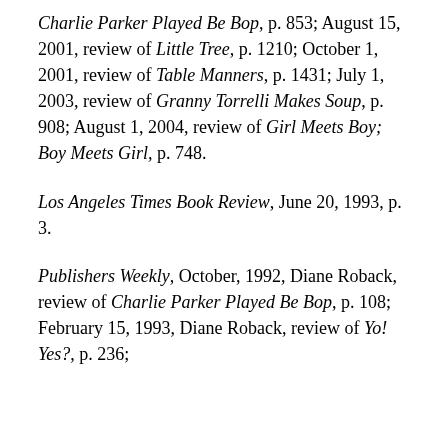Charlie Parker Played Be Bop, p. 853; August 15, 2001, review of Little Tree, p. 1210; October 1, 2001, review of Table Manners, p. 1431; July 1, 2003, review of Granny Torrelli Makes Soup, p. 908; August 1, 2004, review of Girl Meets Boy; Boy Meets Girl, p. 748.
Los Angeles Times Book Review, June 20, 1993, p. 3.
Publishers Weekly, October, 1992, Diane Roback, review of Charlie Parker Played Be Bop, p. 108; February 15, 1993, Diane Roback, review of Yo! Yes?, p. 236;